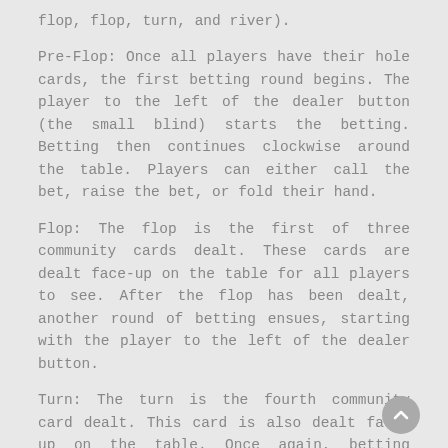flop, flop, turn, and river).
Pre-Flop: Once all players have their hole cards, the first betting round begins. The player to the left of the dealer button (the small blind) starts the betting. Betting then continues clockwise around the table. Players can either call the bet, raise the bet, or fold their hand.
Flop: The flop is the first of three community cards dealt. These cards are dealt face-up on the table for all players to see. After the flop has been dealt, another round of betting ensues, starting with the player to the left of the dealer button.
Turn: The turn is the fourth community card dealt. This card is also dealt face-up on the table. Once again, betting begins with the player to the left of the dealer button and continues clockwise around the table.
River: The river is the final community card dealt. Like the flop and turn, the river is dealt face-up on the board. The